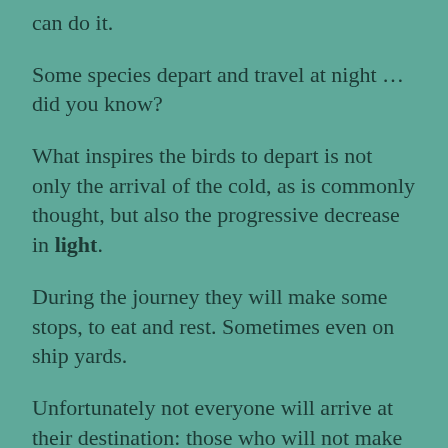can do it.
Some species depart and travel at night … did you know?
What inspires the birds to depart is not only the arrival of the cold,  as is commonly thought,  but also the progressive decrease in light.
During the journey they will make some stops,  to eat and rest.  Sometimes even on ship yards.
Unfortunately not everyone will arrive at their destination:  those who will not make it will be the weakest,  or the last born.
In my shots:  a group of Swallows in the Italian